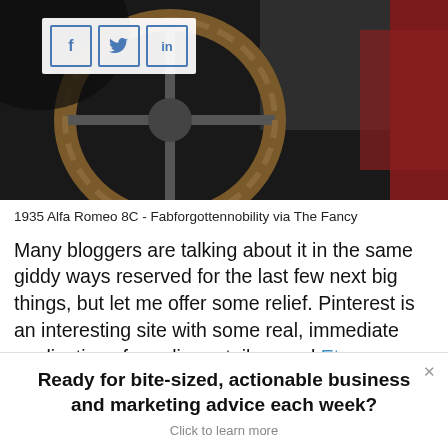[Figure (photo): Close-up photo of a vintage car steering wheel, dark background, red car body visible at right edge. Social sharing buttons (f, bird/twitter icon, in) overlaid in top-left on white background panel.]
1935 Alfa Romeo 8C - Fabforgottennobility via The Fancy
Many bloggers are talking about it in the same giddy ways reserved for the last few next big things, but let me offer some relief. Pinterest is an interesting site with some real, immediate applications for online retailers and Etsy merchants, but the site itself offers little for most typical businesses and it's
Ready for bite-sized, actionable business and marketing advice each week?
Click to learn more